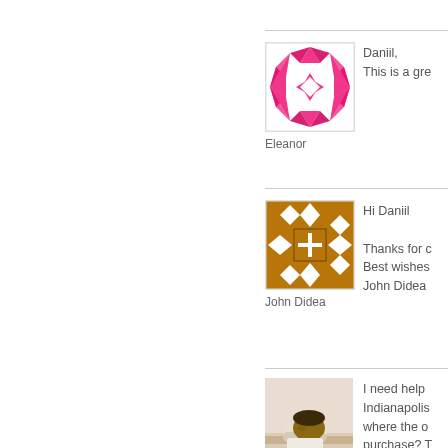[Figure (illustration): Pink geometric mosaic avatar for user Eleanor]
Eleanor
Daniil,
This is a gre
[Figure (illustration): Brown/tan geometric tile pattern avatar for user John Didea]
John Didea
Hi Daniil

Thanks for c
Best wishes
John Didea
[Figure (photo): Photo of Winston Henry, an older man resting head on hands]
WINSTON HENRY
I need help
Indianapolis
where the o
purchase? T
currently 73